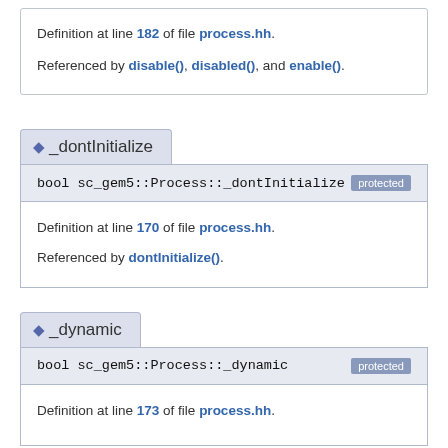Definition at line 182 of file process.hh.
Referenced by disable(), disabled(), and enable().
◆ _dontInitialize
bool sc_gem5::Process::_dontInitialize   protected
Definition at line 170 of file process.hh.
Referenced by dontInitialize().
◆ _dynamic
bool sc_gem5::Process::_dynamic   protected
Definition at line 173 of file process.hh.